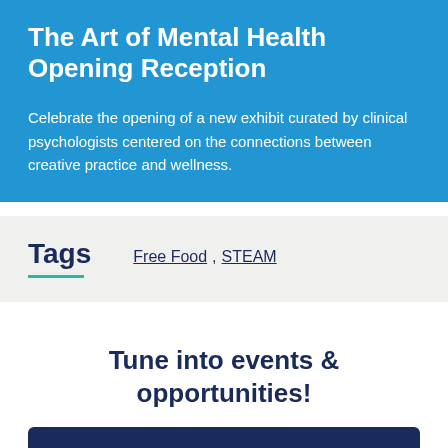The Art of Mental Health Opening Reception
Celebrate the opening of a new exhibit curated by clinical psychologists centered on the connections between creative practice and wellness.
Tags
Free Food, STEAM
Tune into events & opportunities!
Sign up for our newsletter →